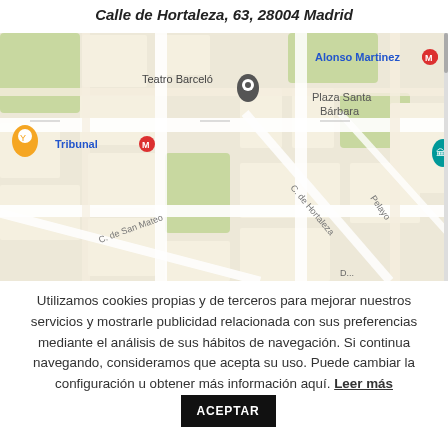Calle de Hortaleza, 63, 28004 Madrid
[Figure (map): Google Maps screenshot showing the area around Calle de Hortaleza 63, 28004 Madrid. Visible landmarks include Teatro Barceló, Museo del Romanticismo, Alonso Martinez metro station, Tribunal metro station, and Plaza Santa Bárbara.]
Utilizamos cookies propias y de terceros para mejorar nuestros servicios y mostrarle publicidad relacionada con sus preferencias mediante el análisis de sus hábitos de navegación. Si continua navegando, consideramos que acepta su uso. Puede cambiar la configuración u obtener más información aquí. Leer más   ACEPTAR